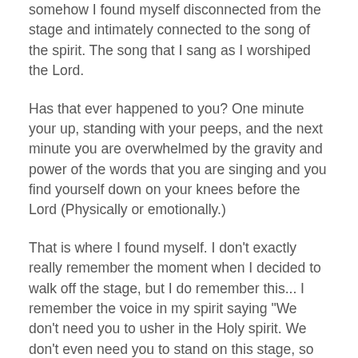somehow I found myself disconnected from the stage and intimately connected to the song of the spirit. The song that I sang as I worshiped the Lord.
Has that ever happened to you? One minute your up, standing with your peeps, and the next minute you are overwhelmed by the gravity and power of the words that you are singing and you find yourself down on your knees before the Lord (Physically or emotionally.)
That is where I found myself. I don't exactly really remember the moment when I decided to walk off the stage, but I do remember this... I remember the voice in my spirit saying "We don't need you to usher in the Holy spirit. We don't even need you to stand on this stage, so get off!" (The Lord always has to be very direct with me...I'm pretty stubborn.)
So, off I went to stand with the congregation, to worship with them and not AT them. Off I went as God simply took the spotlight off of me to refocus